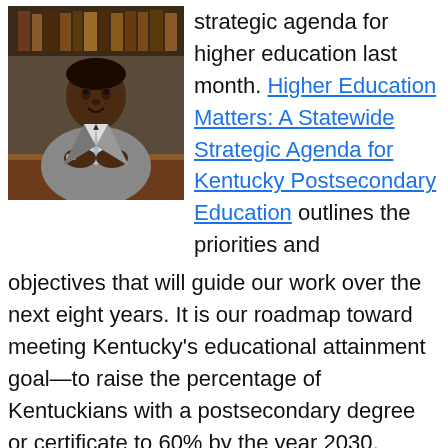[Figure (photo): Portrait photo of an African American man in a grey suit with a light blue tie, seated at a desk with hands clasped, bookshelves in background.]
strategic agenda for higher education last month. Higher Education Matters: A Statewide Strategic Agenda for Kentucky Postsecondary Education outlines the priorities and objectives that will guide our work over the next eight years. It is our roadmap toward meeting Kentucky's educational attainment goal—to raise the percentage of Kentuckians with a postsecondary degree or certificate to 60% by the year 2030.
One of the priorities in the agenda is restoring the public's faith in the value of higher education. We know that college has a positive return on investment in measurable